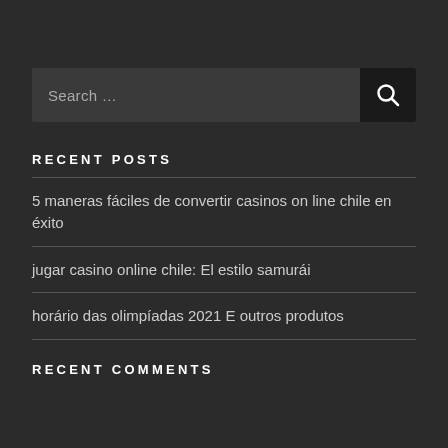[Figure (other): Search box with text input field showing 'Search ...' placeholder and a dark search button with magnifying glass icon]
RECENT POSTS
5 maneras fáciles de convertir casinos on line chile en éxito
jugar casino online chile: El estilo samurái
horário das olimpíadas 2021 E outros produtos
RECENT COMMENTS